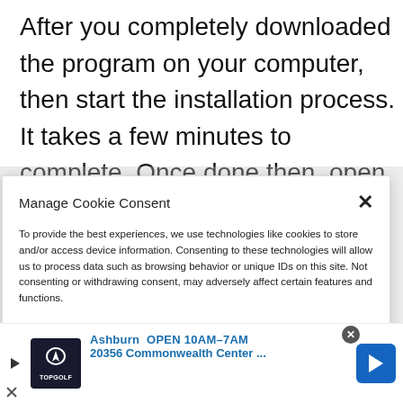After you completely downloaded the program on your computer, then start the installation process. It takes a few minutes to complete. Once done then, open the Lens Studio.
Manage Cookie Consent
To provide the best experiences, we use technologies like cookies to store and/or access device information. Consenting to these technologies will allow us to process data such as browsing behavior or unique IDs on this site. Not consenting or withdrawing consent, may adversely affect certain features and functions.
[Figure (screenshot): Advertisement bar at the bottom showing Topgolf ad with 'Ashburn OPEN 10AM-7AM' and '20356 Commonwealth Center ...' text, with navigation arrow icon.]